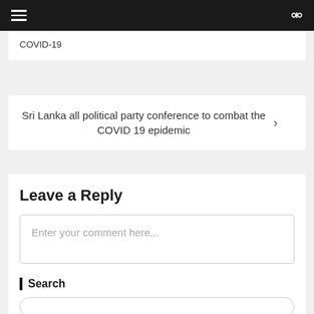Navigation header with hamburger menu and search icon
COVID-19
Sri Lanka all political party conference to combat the COVID 19 epidemic
Leave a Reply
Enter your comment here...
Search